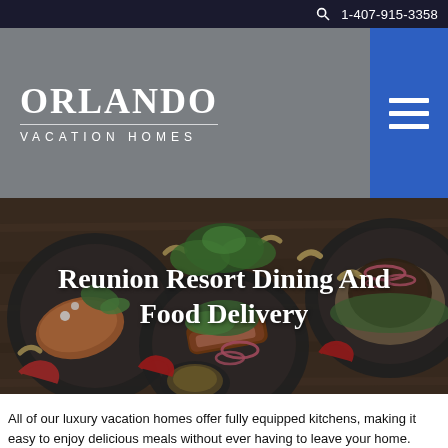1-407-915-3358
[Figure (logo): Orlando Vacation Homes logo with white text on grey background]
[Figure (photo): Overhead photo of three plates of gourmet food including salmon, beef steak, and a grain salad, with cashews, chili peppers, herbs, and a dipping sauce on a dark wood surface]
Reunion Resort Dining And Food Delivery
All of our luxury vacation homes offer fully equipped kitchens, making it easy to enjoy delicious meals without ever having to leave your home.